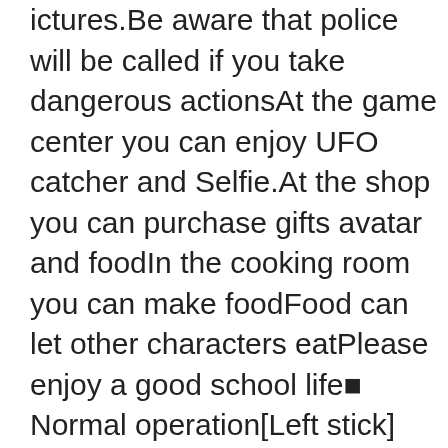ictures.Be aware that police will be called if you take dangerous actionsAt the game center you can enjoy UFO catcher and Selfie.At the shop you can purchase gifts avatar and foodIn the cooking room you can make foodFood can let other characters eatPlease enjoy a good school life■ Normal operation[Left stick] Move[Right stick] Change viewpoint[B Button] Attack[X Button] Jump[A button] action[Y button] Talk[Photo button] Camera mode(You can not speak when the character is talking to class people or other people)■ Future update schedule contents· Frame rate optimization· Crash response· Add weapons· Character schedule events· Friendship with NPC· Add objects to the city· Add avatar· Add language======================================================================================================================Materials are borrowed from the following sitekimagureAfterhttp://k-after.at.webry.info/Wingless Seraphhttp://wingless-seraph.net/========================================================War of Kings : Strategy war game Mod War of Kings : Strategy war game v84